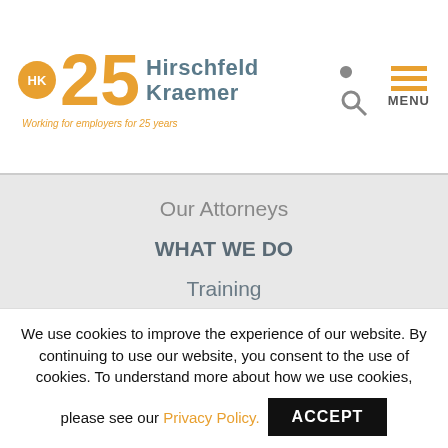[Figure (logo): Hirschfeld Kraemer 25th anniversary logo with orange circle HK badge, orange 25 numeral, teal firm name text, and tagline 'Working for employers for 25 years']
Our Attorneys
WHAT WE DO
Training
Counseling
Litigation
WHO WE SERVE
WHERE WE ARE
WHERE WE GO
We use cookies to improve the experience of our website. By continuing to use our website, you consent to the use of cookies. To understand more about how we use cookies, please see our Privacy Policy.